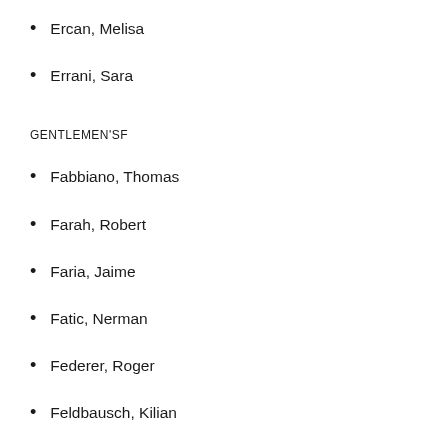Ercan, Melisa
Errani, Sara
GENTLEMEN'SF
Fabbiano, Thomas
Farah, Robert
Faria, Jaime
Fatic, Nerman
Federer, Roger
Feldbausch, Kilian
Fernandez, Gustavo
Ferreira Silva, Frederico